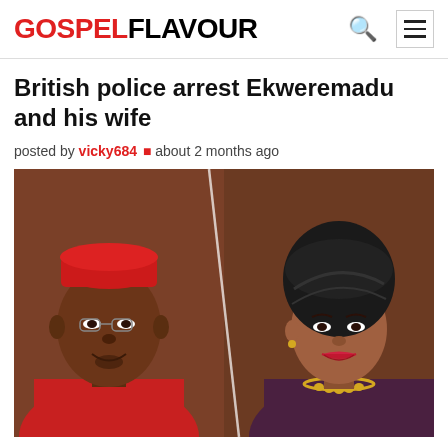GOSPELFLAVOUR
British police arrest Ekweremadu and his wife
posted by vicky684 • about 2 months ago
[Figure (photo): Side-by-side photos of Ekweremadu (left, older man wearing a red cap and patterned red shirt, glasses) and his wife (right, woman wearing a black head wrap and gold necklace, smiling)]